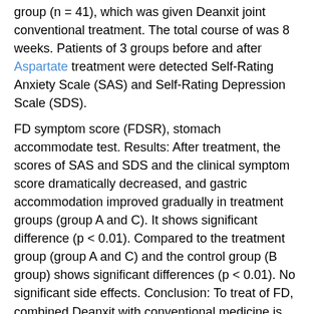group (n = 41), which was given Deanxit joint conventional treatment. The total course of was 8 weeks. Patients of 3 groups before and after Aspartate treatment were detected Self-Rating Anxiety Scale (SAS) and Self-Rating Depression Scale (SDS).
FD symptom score (FDSR), stomach accommodate test. Results: After treatment, the scores of SAS and SDS and the clinical symptom score dramatically decreased, and gastric accommodation improved gradually in treatment groups (group A and C). It shows significant difference (p < 0.01). Compared to the treatment group (group A and C) and the control group (B group) shows significant differences (p < 0.01). No significant side effects. Conclusion: To treat of FD, combined Deanxit with conventional medicine is the finest plan, with fast, save and efficacy. Key Word(s): 1. Deanxit; 2. Functional dyspepsia; 3. Therapeutic effect; Presenting Author: JING TANG Additional Authors: YAN TANG, JUN CHEN Corresponding Author: JING TANG Affiliations: Affiliated hospital of Hainan medical college Objective: To explore the psychological effect in patients with functional